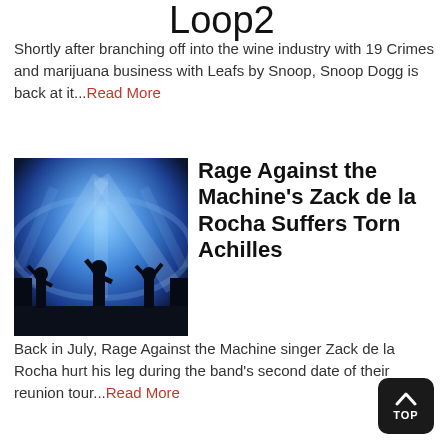Loop2
Shortly after branching off into the wine industry with 19 Crimes and marijuana business with Leafs by Snoop, Snoop Dogg is back at it...Read More
[Figure (photo): Concert stage silhouette with blue lighting and audience raising hands]
Rage Against the Machine's Zack de la Rocha Suffers Torn Achilles
Back in July, Rage Against the Machine singer Zack de la Rocha hurt his leg during the band's second date of their reunion tour...Read More